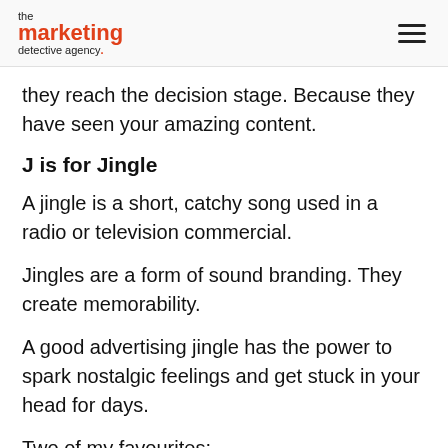the marketing detective agency
they reach the decision stage. Because they have seen your amazing content.
J is for Jingle
A jingle is a short, catchy song used in a radio or television commercial.
Jingles are a form of sound branding. They create memorability.
A good advertising jingle has the power to spark nostalgic feelings and get stuck in your head for days.
Two of my favourites: